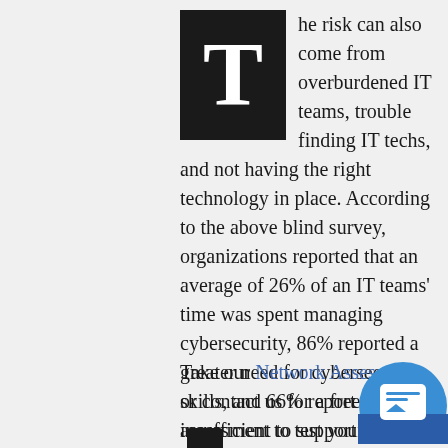The risk can also come from overburdened IT teams, trouble finding IT techs, and not having the right technology in place. According to the above blind survey, organizations reported that an average of 26% of an IT teams' time was spent managing cybersecurity, 86% reported a greater need for cybersecurity skills, and 66% report a budget insufficient to support the right people AND the right technology.
Take our Network Assessment or contact us for a free 1-hour assessment to test your security.
[Figure (illustration): Small black tablet/phone icon]
[Figure (illustration): Blue circular chat/support icon in bottom right corner]